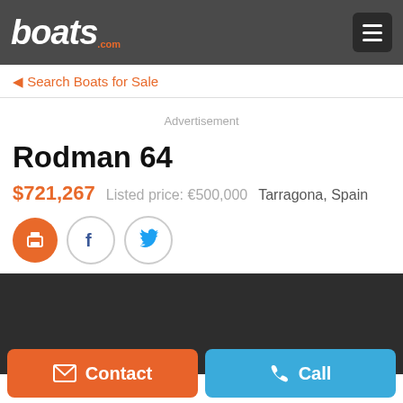boats.com
◄ Search Boats for Sale
Advertisement
Rodman 64
$721,267   Listed price: €500,000   Tarragona, Spain
[Figure (other): Dark image area placeholder for boat photo]
Contact   Call